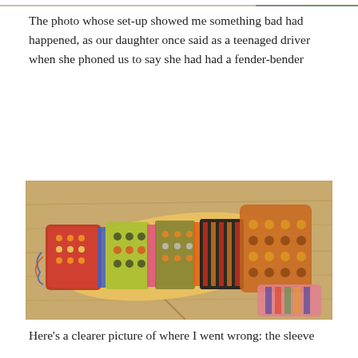[Figure (photo): Partial view of a photo at top of page, cropped]
The photo whose set-up showed me something bad had happened, as our daughter once said as a teenaged driver when she phoned us to say she had had a fender-bender
[Figure (photo): A colorful knitted sleeve laid flat on a wooden floor, showing various Fair Isle / stranded colorwork patterns in bright colors including orange, red, yellow, green, purple, and black]
Here's a clearer picture of where I went wrong: the sleeve